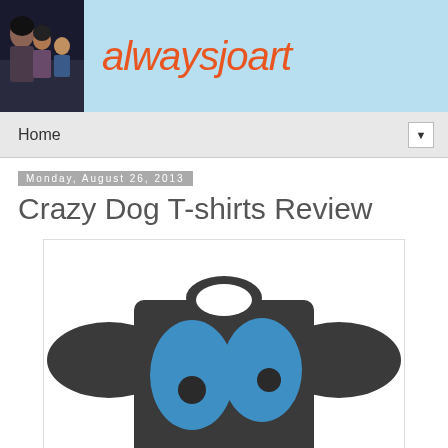alwaysjoart
Home
Monday, August 26, 2013
Crazy Dog T-shirts Review
[Figure (photo): A dark grey t-shirt with two large blue cartoon eyes printed on the front, shown from the back with arms spread out. The shirt has a playful dog-eye design in blue ovals with dark pupils.]